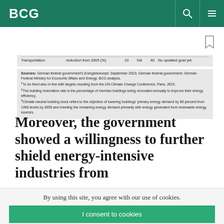BCG
| Transportation | reduction from 2005 (%) | 10 | NA | 40 | No updated goal yet |
| --- | --- | --- | --- | --- | --- |
Sources: German federal government's Energiekonzept, September 2010; German federal government; German Federal Ministry for Economic Affairs and Energy; BCG analysis.
¹To be fixed also in line with targets resulting from the UN Climate Change Conference, Paris, 2015.
²The building restoration rate is the percentage of German buildings being renovated annually to improve their energy efficiency.
³Climate-neutral building stock refers to the objective of lowering buildings' primary energy demand by 80 percent from 1990 levels by 2050 and meeting the remaining energy demand primarily with energy generated from renewable energy sources.
Moreover, the government showed a willingness to further shield energy-intensive industries from
By using this site, you agree with our use of cookies.
I consent to cookies
Want to know more?
Read our Cookie Policy